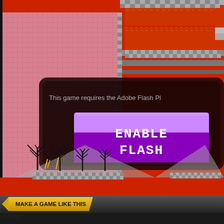[Figure (screenshot): A retro-style platform game screenshot showing an orange/red background with checkered platforms, bare trees at the bottom. An 'Enable Flash' dialog overlay is shown with a purple button reading 'ENABLE FLASH' and text 'This game requires the Adobe Flash Pl...']
This game requires the Adobe Flash Pl
ENABLE FLASH
MAKE A GAME LIKE THIS
Array